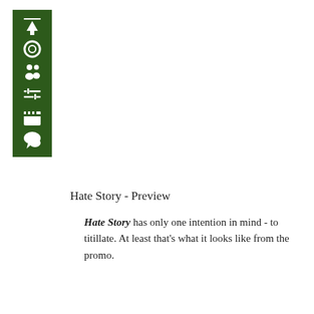[Figure (infographic): Dark green vertical sidebar with white icons: up arrow, circle/lens, two-person silhouette, sliders/equalizer, clapperboard, speech bubble]
Hate Story - Preview
Hate Story has only one intention in mind - to titillate. At least that's what it looks like from the promo.